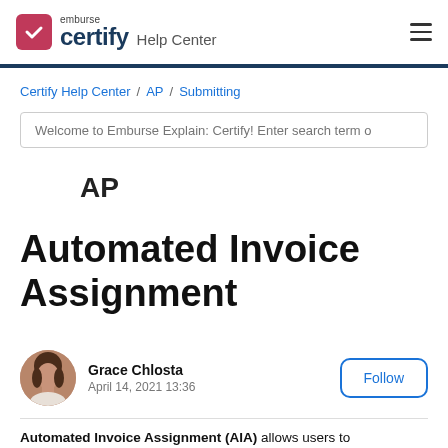emburse certify Help Center
Certify Help Center / AP / Submitting
Welcome to Emburse Explain: Certify! Enter search term o
AP
Automated Invoice Assignment
Grace Chlosta
April 14, 2021 13:36
Automated Invoice Assignment (AIA) allows users to